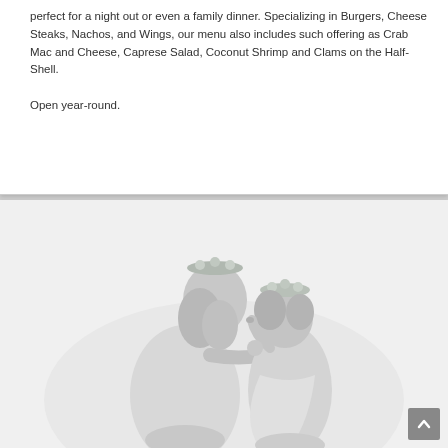perfect for a night out or even a family dinner. Specializing in Burgers, Cheese Steaks, Nachos, and Wings, our menu also includes such offering as Crab Mac and Cheese, Caprese Salad, Coconut Shrimp and Clams on the Half-Shell.

Open year-round.
[Figure (photo): Black and white photo of a woman and a young girl, both wearing flower crowns, sharing a kiss. The woman is leaning forward and the girl is reaching up to touch the woman's face.]